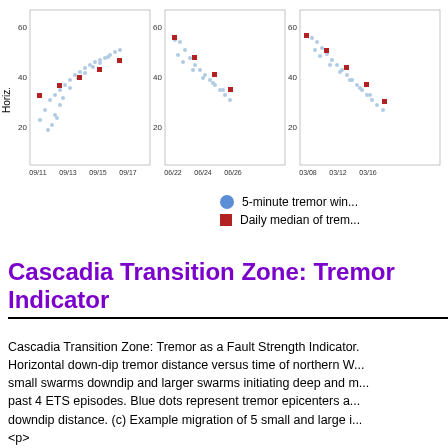[Figure (continuous-plot): Three scatter plots showing horizontal down-dip tremor distance versus time for past ETS episodes. X-axes show dates (09/11-09/17, 06/22-06/26, 03/08-03/16). Y-axes show values from 20 to 60. Blue dots represent 5-minute tremor windows; red squares show daily median of tremor.]
5-minute tremor win...
Daily median of trem...
Cascadia Transition Zone: Tremor Indicator
Cascadia Transition Zone: Tremor as a Fault Strength Indicator. Horizontal down-dip tremor distance versus time of northern W... small swarms downdip and larger swarms initiating deep and m... past 4 ETS episodes. Blue dots represent tremor epicenters a... downdip distance. (c) Example migration of 5 small and large i...
<p>
As oceanic lithosphere descends beneath continents in subdu... between the two plates under- goes a transformation in respon... that vary with increasing depth. The result of this transformatio... fully locked on the shallow, updip side to stable sliding downdi... into the mantle. But how this transition zone works is not entire... fault yields no displacement for hundreds of years, constantly...